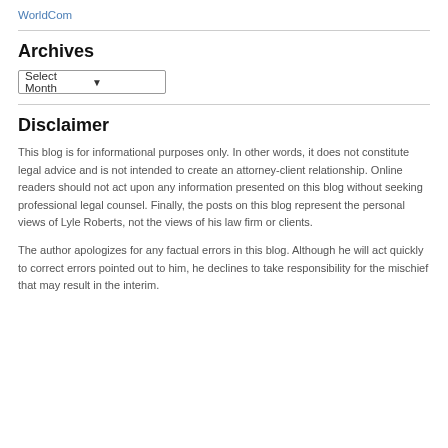WorldCom
Archives
Select Month
Disclaimer
This blog is for informational purposes only. In other words, it does not constitute legal advice and is not intended to create an attorney-client relationship. Online readers should not act upon any information presented on this blog without seeking professional legal counsel. Finally, the posts on this blog represent the personal views of Lyle Roberts, not the views of his law firm or clients.
The author apologizes for any factual errors in this blog. Although he will act quickly to correct errors pointed out to him, he declines to take responsibility for the mischief that may result in the interim.